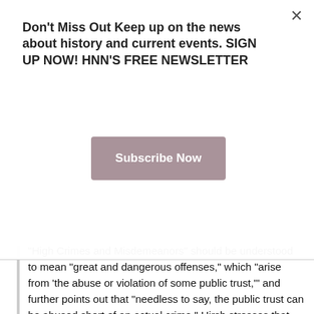Don't Miss Out Keep up on the news about history and current events. SIGN UP NOW! HNN'S FREE NEWSLETTER
[Figure (other): Subscribe Now button (dark rose/mauve colored button)]
"High Crimes and Misdemeanors" should be understood to mean "great and dangerous offenses," which "arise from 'the abuse or violation of some public trust,'" and further points out that "needless to say, the public trust can be abused short of an actual crime." Hirsh stresses that impeachment is not merely political, but the vote of no confidence is not merely political either. I think one may safely say that a president ventures into abuse when he undertakes radical measures which are both strikingly at variance with his electoral platform, and at variance with the standards of prudence embodied in his electoral platform. The President came very close to failing to be re-elected in 2004. It is a fair surmise that if the President had been more candid about matters which have since come to light, in despite of his efforts to keep them secret, the result might well have been sufficient to change the outcome of the election.